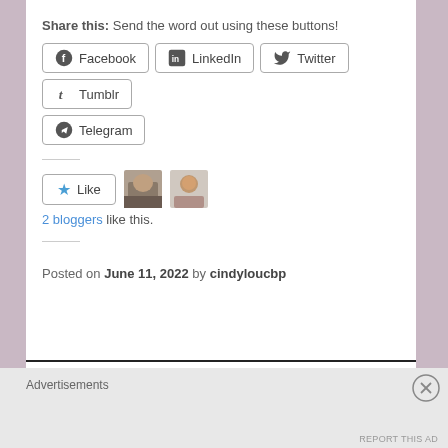Share this: Send the word out using these buttons!
Facebook  LinkedIn  Twitter  Tumblr  Telegram
[Figure (illustration): Like button with star icon and two blogger avatar thumbnails]
2 bloggers like this.
Posted on June 11, 2022 by cindyloucbp
RELATED
Advertisements